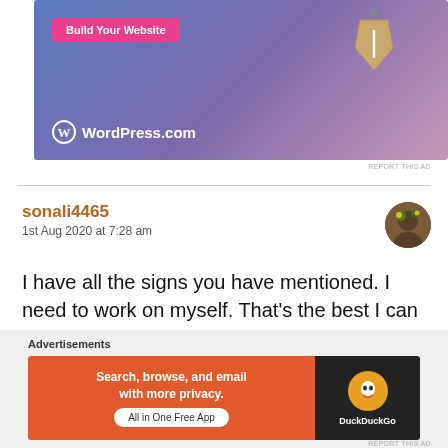[Figure (screenshot): WordPress.com advertisement banner with blue-purple gradient background, 'Build Your Website' pink button, a hanging price tag, and WordPress.com logo]
REPORT THIS AD
sonali4465
1st Aug 2020 at 7:28 am
I have all the signs you have mentioned. I need to work on myself. That's the best I can do. Thanks for sharing.
Advertisements
[Figure (screenshot): DuckDuckGo advertisement: 'Search, browse, and email with more privacy. All in One Free App' on orange background with DuckDuckGo logo on dark background]
REPORT THIS AD